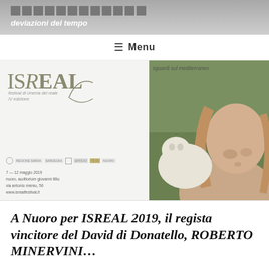deviazioni del tempo
☰  Menu
[Figure (illustration): ISREAL festival di cinema del reale IV edizione banner with logo on left side and photo of a young girl with a white goat on the right. Includes sponsor logos and date info: 7–12 maggio 2019, nuoro, auditorium giovanni lilliu, via antonio mereu, 56, www.isrealfestival.it. Text: sguardi sul mediterraneo]
A Nuoro per ISREAL 2019, il regista vincitore del David di Donatello, ROBERTO MINERVINI…